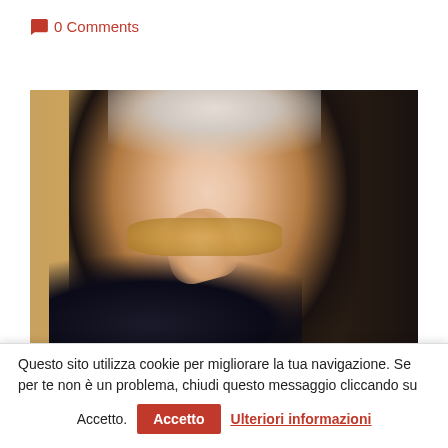💬 0 Comments
[Figure (photo): Woman with grey/white hair giving a thumbs up gesture, smiling widely, wearing dark jacket and patterned scarf, against a tan/wooden background]
Will COVID-19 trigger a reduction in
Questo sito utilizza cookie per migliorare la tua navigazione. Se per te non è un problema, chiudi questo messaggio cliccando su
Accetto. Accetto  Ulteriori informazioni